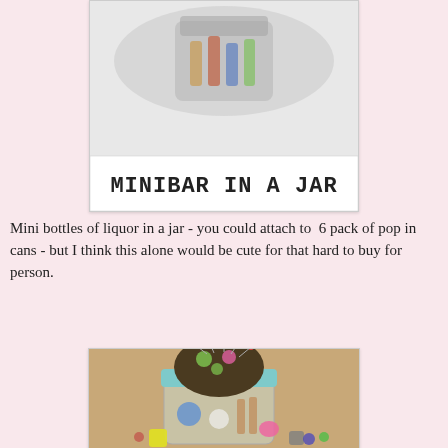[Figure (photo): Photo of a jar labeled 'MINIBAR IN A JAR' with mini liquor bottles inside, shown on a white card]
Mini bottles of liquor in a jar - you could attach to 6 pack of pop in cans - but I think this alone would be cute for that hard to buy for person.
[Figure (photo): Photo of a mason jar with a colorful pincushion lid topped with sewing pins, and sewing supplies inside and around the jar]